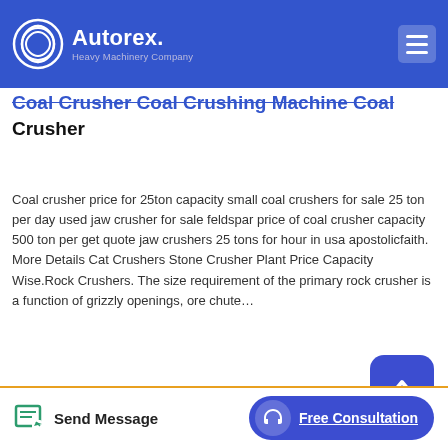Autorex Heavy Machinery Company
Coal Crusher Coal Crushing Machine Coal Crusher
Coal crusher price for 25ton capacity small coal crushers for sale 25 ton per day used jaw crusher for sale feldspar price of coal crusher capacity 500 ton per get quote jaw crushers 25 tons for hour in usa apostolicfaith. More Details Cat Crushers Stone Crusher Plant Price Capacity Wise.Rock Crushers. The size requirement of the primary rock crusher is a function of grizzly openings, ore chute…
[Figure (photo): Interior of a large industrial factory or warehouse building with steel framework, windows, and blue banner signs visible.]
Send Message | Free Consultation